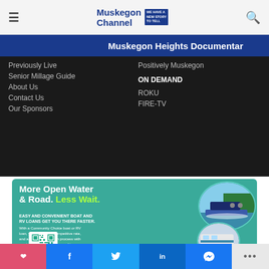≡  Muskegon Channel  🔍
Muskegon Heights Documentar
Previously Live
Senior Millage Guide
About Us
Contact Us
Our Sponsors
Positively Muskegon
ON DEMAND
ROKU
FIRE-TV
[Figure (advertisement): Community Choice Credit Union ad: More Open Water & Road. Less Wait. Easy and convenient boat and RV loans get you there faster. With a Community Choice boat or RV loan, you'll receive a competitive rate, and a simple application process with a quick close. Plus, you can skip your payment for 90 days. QR code shown. Teal background with circular images of a pontoon boat and RV.]
❤  f  🐦  in  💬  ...